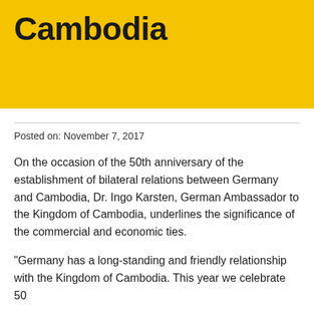Cambodia
Posted on: November 7, 2017
On the occasion of the 50th anniversary of the establishment of bilateral relations between Germany and Cambodia, Dr. Ingo Karsten, German Ambassador to the Kingdom of Cambodia, underlines the significance of the commercial and economic ties.
"Germany has a long-standing and friendly relationship with the Kingdom of Cambodia. This year we celebrate 50